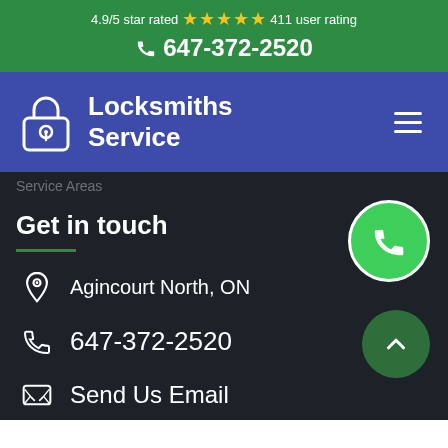4.9/5 star rated ★★★★★ 411 user rating
647-372-2520
[Figure (logo): Locksmiths Service logo with padlock icon on blue/purple navigation bar]
Service Areas
Get in touch
Agincourt North, ON
647-372-2520
Send Us Email